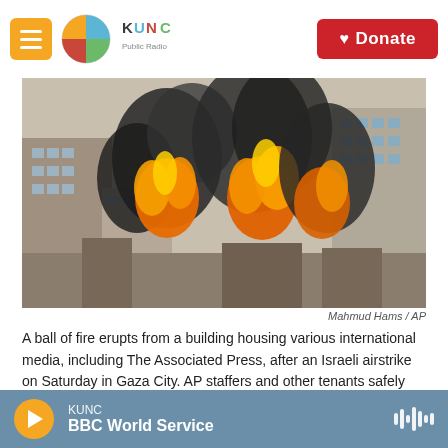KUNC — Donate
[Figure (photo): A ball of fire and dark smoke erupting from a building in Gaza City, with other tall buildings visible in the background.]
Mahmud Hams / AP
A ball of fire erupts from a building housing various international media, including The Associated Press, after an Israeli airstrike on Saturday in Gaza City. AP staffers and other tenants safely evacuated the building after the Israeli military telephoned a warning that the strike was imminent.
Updated May 15, 2021 at 4:00 PM ET
KUNC — BBC World Service